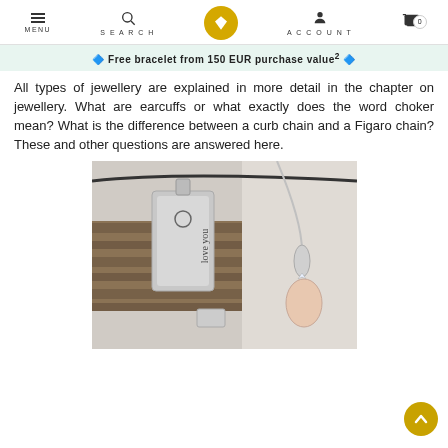MENU  SEARCH  [diamond logo]  ACCOUNT  [cart 0]
🔷 Free bracelet from 150 EUR purchase value² 🔷
All types of jewellery are explained in more detail in the chapter on jewellery. What are earcuffs or what exactly does the word choker mean? What is the difference between a curb chain and a Figaro chain? These and other questions are answered here.
[Figure (photo): Close-up photo of jewellery items: a braided dark leather bracelet with a silver rectangular pendant engraved with a logo and 'love you', and a silver chain necklace with a pearl drop pendant with a small diamond accent.]